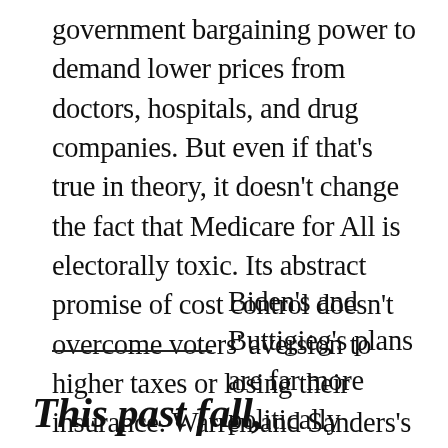government bargaining power to demand lower prices from doctors, hospitals, and drug companies. But even if that's true in theory, it doesn't change the fact that Medicare for All is electorally toxic. Its abstract promise of cost control doesn't overcome voters' aversion to higher taxes or losing their insurance. Warren and Sanders's plans' most-likely outcome isn't cheaper care. It's four more years of Donald Trump.
Biden's and Buttigieg's plans are far more politically salable, and they
This past fall,